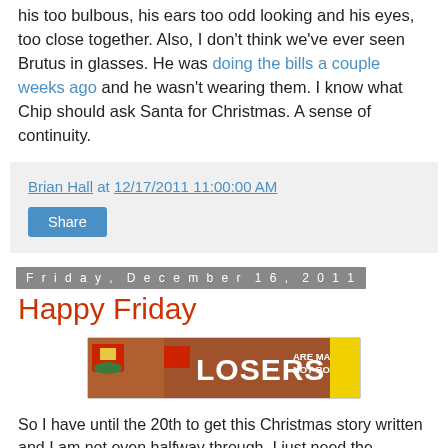his too bulbous, his ears too odd looking and his eyes, too close together. Also, I don't think we've ever seen Brutus in glasses. He was doing the bills a couple weeks ago and he wasn't wearing them. I know what Chip should ask Santa for Christmas. A sense of continuity.
Brian Hall at 12/17/2011 11:00:00 AM
Share
Friday, December 16, 2011
Happy Friday
[Figure (photo): Banner image showing 'LOSERS ARE MADE NOT BORN' with a school crest on the left and a yellow block on the right]
So I have until the 20th to get this Christmas story written and I am not even halfway through. I just need the motivation to get it written but instead waste my time doing other stuff on the computer. Over this weekend I am going to buckle down and get it done because I just looked at the calendar